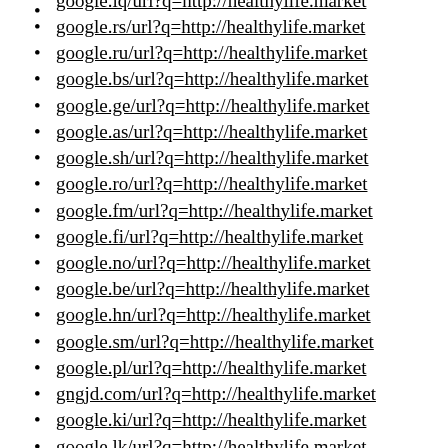google.iq/url?q=http://healthylife.market
google.rs/url?q=http://healthylife.market
google.ru/url?q=http://healthylife.market
google.bs/url?q=http://healthylife.market
google.ge/url?q=http://healthylife.market
google.as/url?q=http://healthylife.market
google.sh/url?q=http://healthylife.market
google.ro/url?q=http://healthylife.market
google.fm/url?q=http://healthylife.market
google.fi/url?q=http://healthylife.market
google.no/url?q=http://healthylife.market
google.be/url?q=http://healthylife.market
google.hn/url?q=http://healthylife.market
google.sm/url?q=http://healthylife.market
google.pl/url?q=http://healthylife.market
gngjd.com/url?q=http://healthylife.market
google.ki/url?q=http://healthylife.market
google.lk/url?q=http://healthylife.market